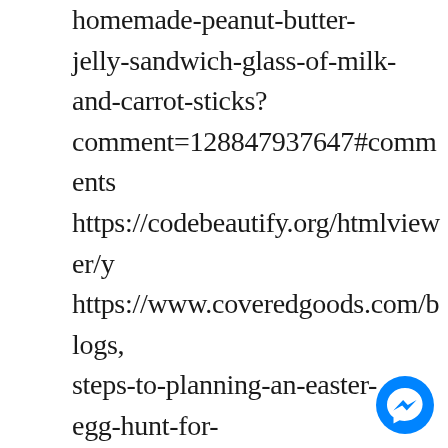homemade-peanut-butter-jelly-sandwich-glass-of-milk-and-carrot-sticks?comment=128847937647#comments https://codebeautify.org/htmlviewer/y https://www.coveredgoods.com/blogs, steps-to-planning-an-easter-egg-hunt-for-kids/comments#comment_form https://eyeart.com.au/blogs/eye-art-studio-the-blog/diy-how-to-remove-botched-eyebrow-tattoo-at-home?